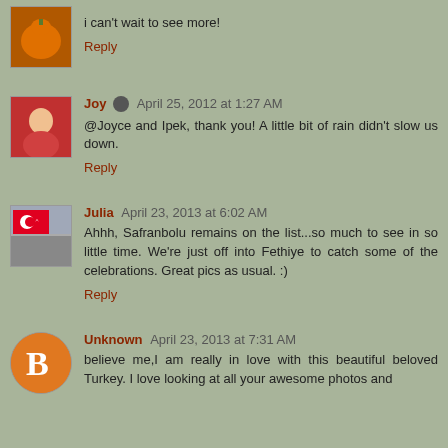i can't wait to see more!
Reply
Joy  April 25, 2012 at 1:27 AM
@Joyce and Ipek, thank you! A little bit of rain didn't slow us down.
Reply
Julia  April 23, 2013 at 6:02 AM
Ahhh, Safranbolu remains on the list...so much to see in so little time. We're just off into Fethiye to catch some of the celebrations. Great pics as usual. :)
Reply
Unknown  April 23, 2013 at 7:31 AM
believe me,I am really in love with this beautiful beloved Turkey. I love looking at all your awesome photos and